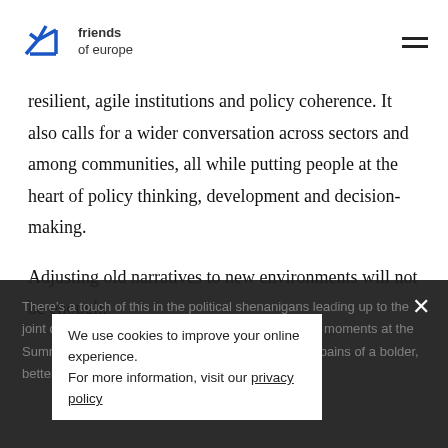friends of europe
resilient, agile institutions and policy coherence. It also calls for a wider conversation across sectors and among communities, all while putting people at the heart of policy thinking, development and decision-making.
Adjusting old narratives to new environments will not be enough.
There's a touch of this in the political shenanigans leading up to the joint declaration on the CoFE and in the contentious moments at the Summit and NALS — maybe these are just birthing pains of a bolder, better mindset.
We use cookies to improve your online experience.
For more information, visit our privacy policy